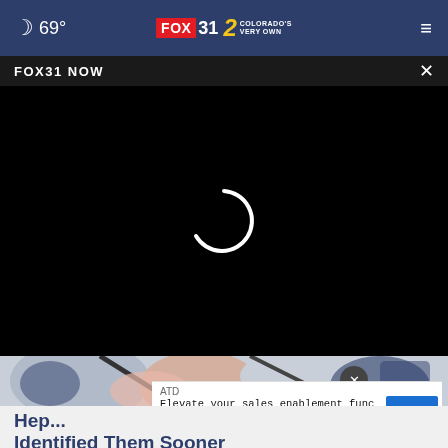69°  FOX 31  2 COLORADO'S VERY OWN
FOX31 NOW  ×
[Figure (screenshot): Black video player with loading spinner (white partial circle arc) centered on black background]
[Figure (illustration): Partial view of colorful abstract illustration with blue, pink, and grey tones]
ATD
Elevate your sales enablement function by attending ATD SELL 2022
OPEN
Hep... Identified Them Sooner